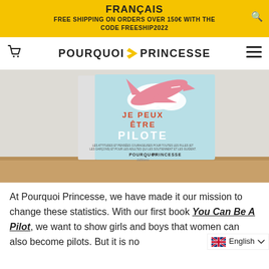FRANÇAIS
FREE SHIPPING ON ORDERS OVER 150€ WITH THE CODE FREESHIP2022
POURQUOI PRINCESSE
[Figure (photo): A book titled 'Je Peux Être Pilote' (You Can Be A Pilot) by Pourquoi Princesse Éditions, showing a light blue cover with a pink airplane and clouds, leaning against a white wall on a wooden surface.]
At Pourquoi Princesse, we have made it our mission to change these statistics. With our first book You Can Be A Pilot, we want to show girls and boys that women can also become pilots. But it is no